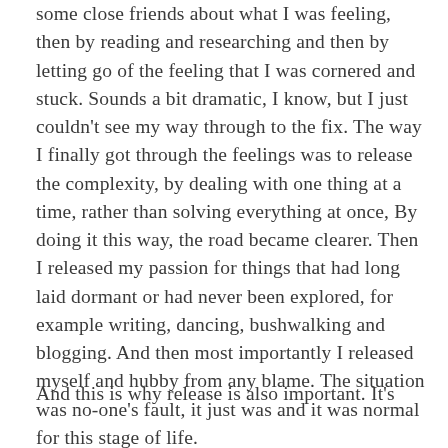some close friends about what I was feeling, then by reading and researching and then by letting go of the feeling that I was cornered and stuck. Sounds a bit dramatic, I know, but I just couldn't see my way through to the fix. The way I finally got through the feelings was to release the complexity, by dealing with one thing at a time, rather than solving everything at once, By doing it this way, the road became clearer. Then I released my passion for things that had long laid dormant or had never been explored, for example writing, dancing, bushwalking and blogging. And then most importantly I released myself and hubby from any blame. The situation was no-one's fault, it just was and it was normal for this stage of life.
And this is why release is also important. It's